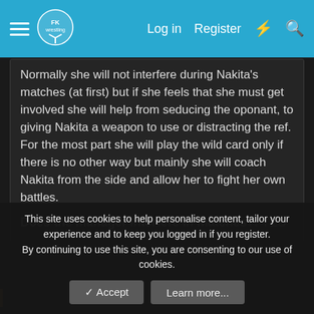FKWrestling — Log in  Register
Normally she will not interfere during Nakita's matches (at first) but if she feels that she must get involved she will help from seducing the oponant, to giving Nakita a weapon to use or distracting the ref. For the most part she will play the wild card only if there is no other way but mainly she will coach Nakita from the side and allow her to fight her own battles.
Does the manager interfere in matches?: YES
This site uses cookies to help personalise content, tailor your experience and to keep you logged in if you register.
By continuing to use this site, you are consenting to our use of cookies.